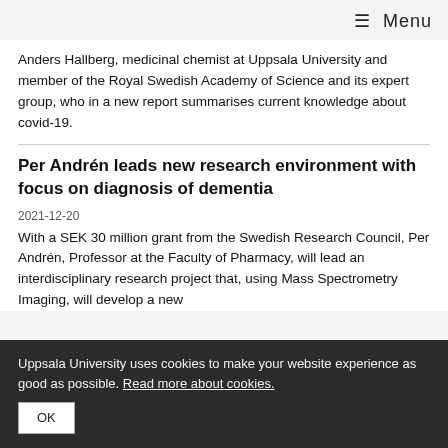≡ Menu
Anders Hallberg, medicinal chemist at Uppsala University and member of the Royal Swedish Academy of Science and its expert group, who in a new report summarises current knowledge about covid-19.
Per Andrén leads new research environment with focus on diagnosis of dementia
2021-12-20
With a SEK 30 million grant from the Swedish Research Council, Per Andrén, Professor at the Faculty of Pharmacy, will lead an interdisciplinary research project that, using Mass Spectrometry Imaging, will develop a new
Uppsala University uses cookies to make your website experience as good as possible. Read more about cookies.